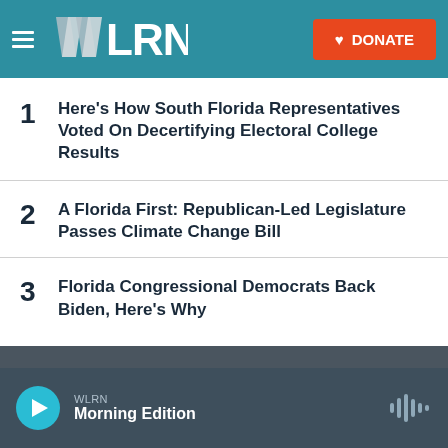[Figure (logo): WLRN public radio header with logo and DONATE button]
1 Here's How South Florida Representatives Voted On Decertifying Electoral College Results
2 A Florida First: Republican-Led Legislature Passes Climate Change Bill
3 Florida Congressional Democrats Back Biden, Here's Why
WLRN Morning Edition